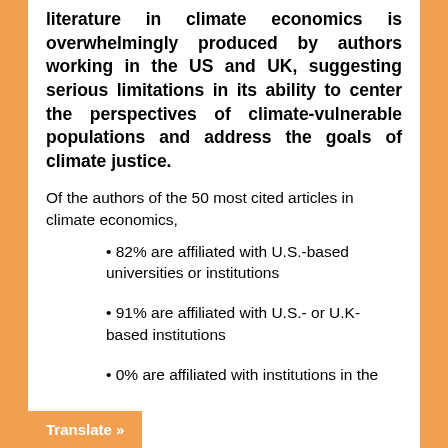literature in climate economics is overwhelmingly produced by authors working in the US and UK, suggesting serious limitations in its ability to center the perspectives of climate-vulnerable populations and address the goals of climate justice.
Of the authors of the 50 most cited articles in climate economics,
• 82% are affiliated with U.S.-based universities or institutions
• 91% are affiliated with U.S.- or U.K-based institutions
• 0% are affiliated with institutions in the